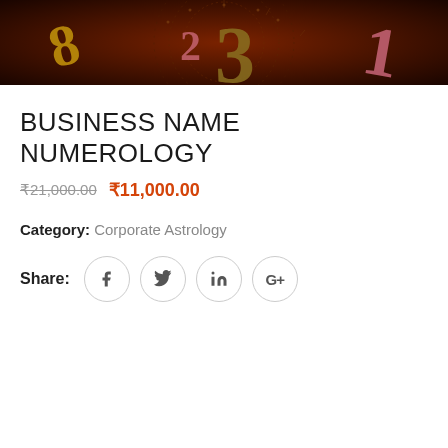[Figure (illustration): Dark brown banner image with numerology-themed decorative numbers (8, 2, 3, 1) in gold and red tones on a dark maroon/brown background with circular dotted pattern]
BUSINESS NAME NUMEROLOGY
₹21,000.00  ₹11,000.00
Category: Corporate Astrology
Share: